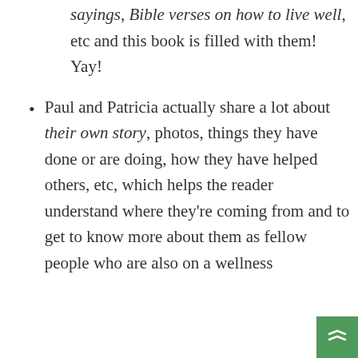sayings, Bible verses on how to live well, etc and this book is filled with them! Yay!
Paul and Patricia actually share a lot about their own story, photos, things they have done or are doing, how they have helped others, etc, which helps the reader understand where they're coming from and to get to know more about them as fellow people who are also on a wellness